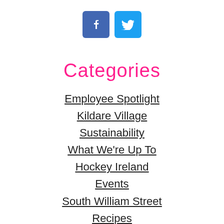[Figure (logo): Facebook and Twitter social media icon buttons]
Categories
Employee Spotlight
Kildare Village
Sustainability
What We're Up To
Hockey Ireland
Events
South William Street
Recipes
Careers
Sale To Go...